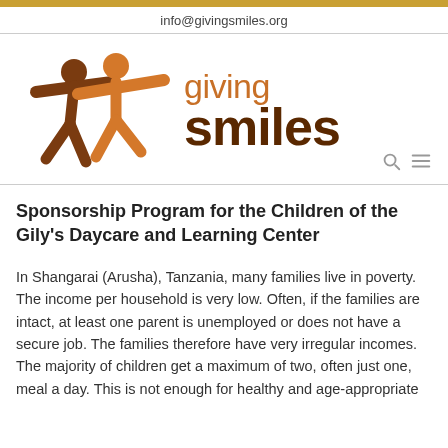info@givingsmiles.org
[Figure (logo): Giving Smiles logo with two figures holding hands and text 'giving smiles']
Sponsorship Program for the Children of the Gily's Daycare and Learning Center
In Shangarai (Arusha), Tanzania, many families live in poverty. The income per household is very low. Often, if the families are intact, at least one parent is unemployed or does not have a secure job. The families therefore have very irregular incomes. The majority of children get a maximum of two, often just one, meal a day. This is not enough for healthy and age-appropriate